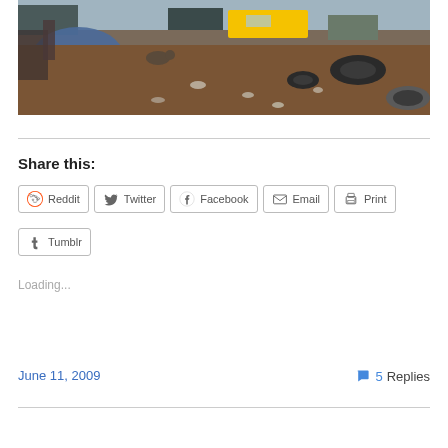[Figure (photo): Outdoor urban scene showing a construction or demolition site with dirt ground, scattered debris, tires, and a yellow taxi cab visible in the background]
Share this:
Reddit  Twitter  Facebook  Email  Print  Tumblr
Loading...
June 11, 2009
5 Replies